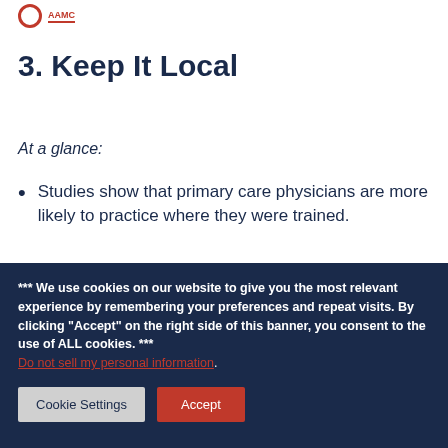3. Keep It Local
At a glance:
Studies show that primary care physicians are more likely to practice where they were trained.
*** We use cookies on our website to give you the most relevant experience by remembering your preferences and repeat visits. By clicking “Accept” on the right side of this banner, you consent to the use of ALL cookies. *** Do not sell my personal information.